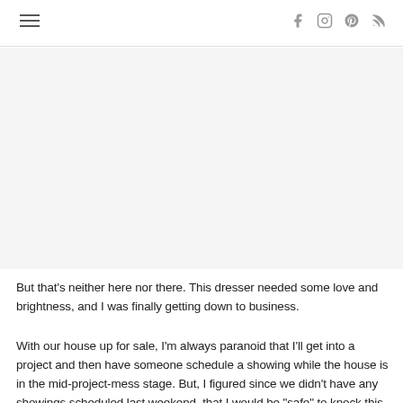≡  f  Instagram  Pinterest  RSS
[Figure (photo): Large image area — appears blank/white, likely a photo of a dresser project]
But that's neither here nor there. This dresser needed some love and brightness, and I was finally getting down to business.
With our house up for sale, I'm always paranoid that I'll get into a project and then have someone schedule a showing while the house is in the mid-project-mess stage. But, I figured since we didn't have any showings scheduled last weekend, that I would be "safe" to knock this thing out. Well, ...